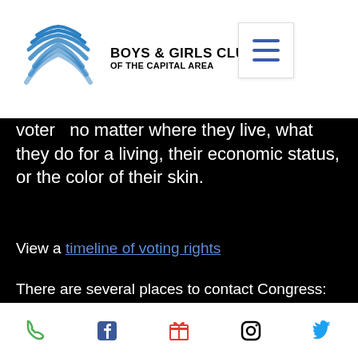BOYS & GIRLS CLUBS OF THE CAPITAL AREA
voter – no matter where they live, what they do for a living, their economic status, or the color of their skin.
View a timeline of voting rights
There are several places to contact Congress:
ACLU | BLACK LIVES MATTER VOTE.ORG | CONTACT HOUSE REPS CONTACT SENATE REPS
Social media icons: phone, facebook, gift, instagram, twitter